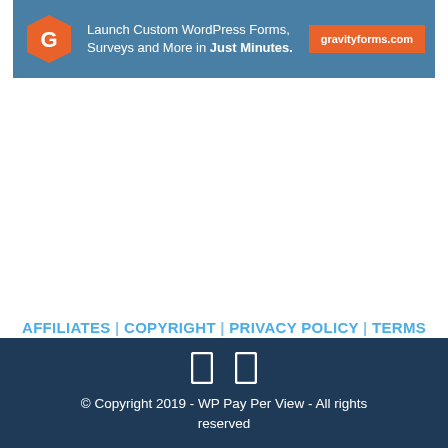[Figure (screenshot): Gravity Forms advertisement banner: orange hexagon logo with 'G', text 'Launch Custom WordPress Forms, Surveys and More in Just Minutes.', orange CTA button 'gravityforms.com' on steel-blue background]
AFFILIATES | COPYRIGHT | PRIVACY POLICY | TERMS OF USE | CREDITS
© Copyright 2019 - WP Pay Per View - All rights reserved